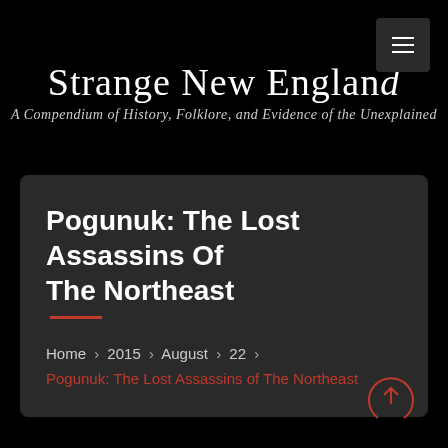Strange New England
A Compendium of History, Folklore, and Evidence of the Unexplained
Pogunuk: The Lost Assassins Of The Northeast
Home > 2015 > August > 22 >
Pogunuk: The Lost Assassins of The Northeast